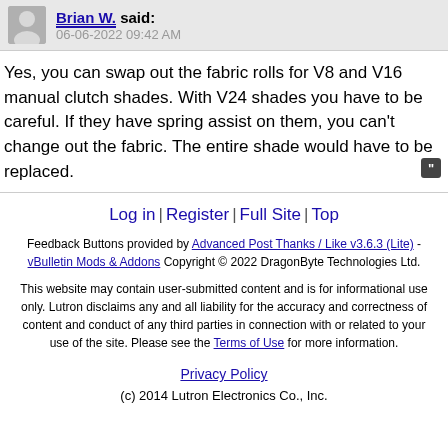Brian W. said: 06-06-2022 09:42 AM
Yes, you can swap out the fabric rolls for V8 and V16 manual clutch shades. With V24 shades you have to be careful. If they have spring assist on them, you can't change out the fabric. The entire shade would have to be replaced.
Log in | Register | Full Site | Top
Feedback Buttons provided by Advanced Post Thanks / Like v3.6.3 (Lite) - vBulletin Mods & Addons Copyright © 2022 DragonByte Technologies Ltd.
This website may contain user-submitted content and is for informational use only. Lutron disclaims any and all liability for the accuracy and correctness of content and conduct of any third parties in connection with or related to your use of the site. Please see the Terms of Use for more information.
Privacy Policy
(c) 2014 Lutron Electronics Co., Inc.